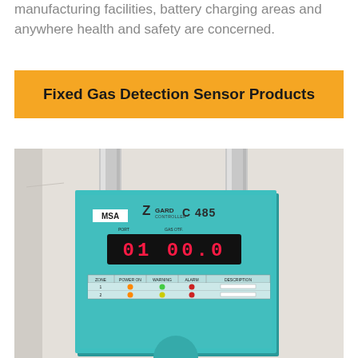manufacturing facilities, battery charging areas and anywhere health and safety are concerned.
Fixed Gas Detection Sensor Products
[Figure (photo): Photo of an MSA ZGard C 485 fixed gas detection controller unit mounted on a wall. The teal/turquoise metal enclosure shows a digital display reading '01 00.0', MSA branding, ZGard Controller C485 labeling, and a status indicator panel with rows for zone, power on, warning, alarm, and description columns.]